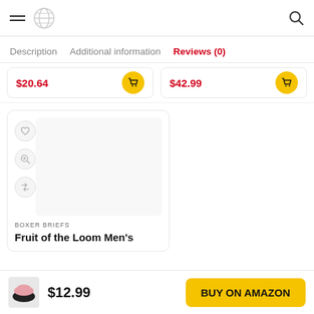Navigation header with hamburger menu, globe icon, and search icon
Description   Additional information   Reviews (0)
$20.64   $42.99
[Figure (screenshot): Product card with heart/zoom/shuffle icons, empty image area, BOXER BRIEFS category label, and product title 'Fruit of the Loom Men's...']
BOXER BRIEFS
Fruit of the Loom Men's
$12.99   BUY ON AMAZON